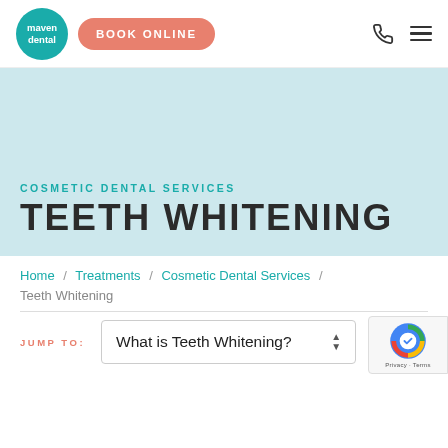[Figure (logo): Maven Dental teal circular logo with white text]
BOOK ONLINE
maven dental | BOOK ONLINE
[Figure (illustration): Light blue hero banner background with teeth whitening imagery]
COSMETIC DENTAL SERVICES
TEETH WHITENING
Home / Treatments / Cosmetic Dental Services / Teeth Whitening
JUMP TO: What is Teeth Whitening?